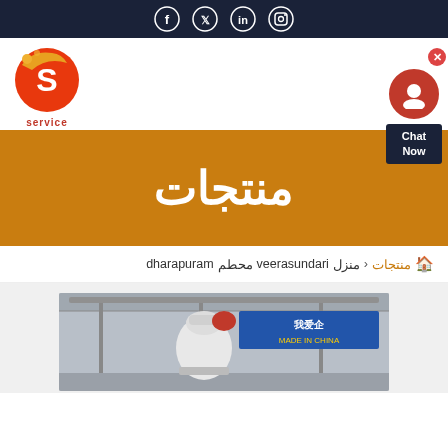Social media icons: Facebook, Twitter, LinkedIn, Instagram
[Figure (logo): Service company logo — red/orange circular logo with letter S, text 'service' below]
[Figure (infographic): Hamburger menu icon (three orange lines) and chat widget (red chat head with 'Chat Now' label)]
منتجات
dharapuram veerasundari محطم منزل ‹ منتجات 🏠
[Figure (photo): Industrial machinery — appears to be a concrete mixer or industrial grinding machine in a factory hall with Chinese signage banners]